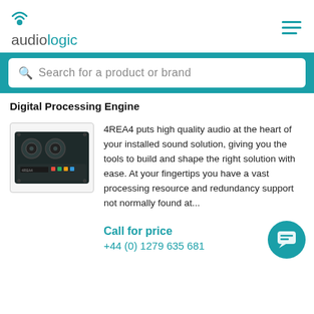audiologic
Search for a product or brand
Digital Processing Engine
[Figure (photo): Photo of the 4REA4 Digital Processing Engine hardware unit, a black rack-mount device with fans and colored connectors]
4REA4 puts high quality audio at the heart of your installed sound solution, giving you the tools to build and shape the right solution with ease. At your fingertips you have a vast processing resource and redundancy support not normally found at...
Call for price
+44 (0) 1279 635 681